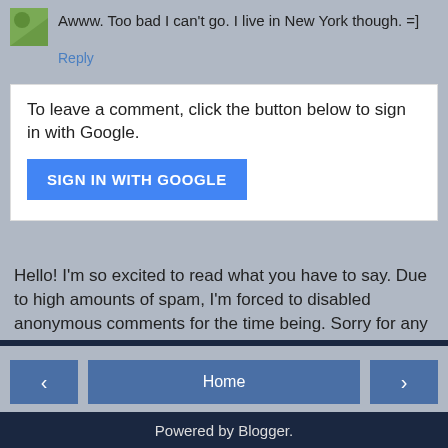Awww. Too bad I can't go. I live in New York though. =]
Reply
To leave a comment, click the button below to sign in with Google.
SIGN IN WITH GOOGLE
Hello! I'm so excited to read what you have to say. Due to high amounts of spam, I'm forced to disabled anonymous comments for the time being. Sorry for any inconvenience this causes, and I hope you can understand and still appreciate the content here!
Home | View web version | Powered by Blogger.